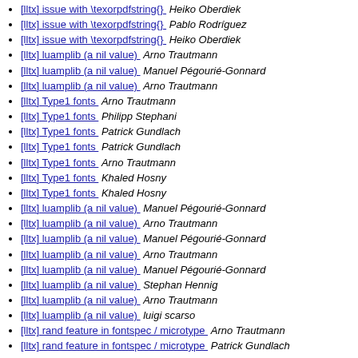[lltx] issue with \texorpdfstring{} Heiko Oberdiek
[lltx] issue with \texorpdfstring{} Pablo Rodríguez
[lltx] issue with \texorpdfstring{} Heiko Oberdiek
[lltx] luamplib (a nil value) Arno Trautmann
[lltx] luamplib (a nil value) Manuel Pégourié-Gonnard
[lltx] luamplib (a nil value) Arno Trautmann
[lltx] Type1 fonts Arno Trautmann
[lltx] Type1 fonts Philipp Stephani
[lltx] Type1 fonts Patrick Gundlach
[lltx] Type1 fonts Patrick Gundlach
[lltx] Type1 fonts Arno Trautmann
[lltx] Type1 fonts Khaled Hosny
[lltx] Type1 fonts Khaled Hosny
[lltx] luamplib (a nil value) Manuel Pégourié-Gonnard
[lltx] luamplib (a nil value) Arno Trautmann
[lltx] luamplib (a nil value) Manuel Pégourié-Gonnard
[lltx] luamplib (a nil value) Arno Trautmann
[lltx] luamplib (a nil value) Manuel Pégourié-Gonnard
[lltx] luamplib (a nil value) Stephan Hennig
[lltx] luamplib (a nil value) Arno Trautmann
[lltx] luamplib (a nil value) luigi scarso
[lltx] rand feature in fontspec / microtype Arno Trautmann
[lltx] rand feature in fontspec / microtype Patrick Gundlach
[lltx] rand feature in fontspec / microtype Patrick Gundlach
[lltx] rand feature in fontspec / microtype Arno Trautmann